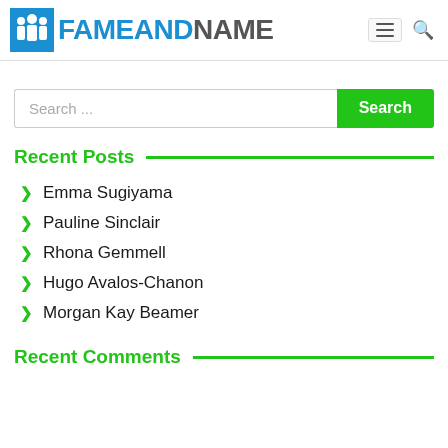FAMEANDNAME
Search ...
Recent Posts
Emma Sugiyama
Pauline Sinclair
Rhona Gemmell
Hugo Avalos-Chanon
Morgan Kay Beamer
Recent Comments